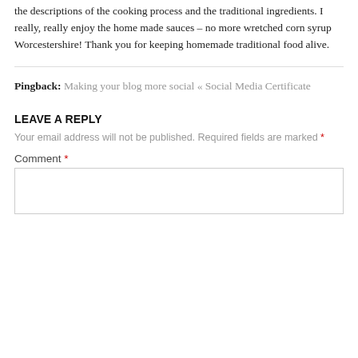the descriptions of the cooking process and the traditional ingredients. I really, really enjoy the home made sauces – no more wretched corn syrup Worcestershire! Thank you for keeping homemade traditional food alive.
Pingback: Making your blog more social « Social Media Certificate
LEAVE A REPLY
Your email address will not be published. Required fields are marked *
Comment *